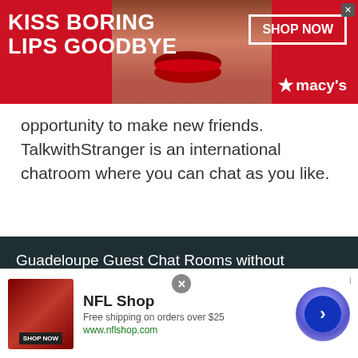[Figure (screenshot): Macy's advertisement banner: red background with 'KISS BORING LIPS GOODBYE' text on left, woman's face with red lips in center, 'SHOP NOW' button and Macy's star logo on right]
opportunity to make new friends. TalkwithStranger is an international chatroom where you can chat as you like.
Guadeloupe Guest Chat Rooms without registration Guadeloupian guest chat rooms is a place to meet strangers from Guadeloupe. Also its a place to share your way of understanding world, your culture. It is a place to discuss about your favorite thing, to know
[Figure (screenshot): NFL Shop advertisement: dark background with NFL jersey image, 'NFL Shop' title, 'Free shipping on orders over $25', 'www.nflshop.com', 'SHOP NOW' button, and a blue circular arrow button on the right]